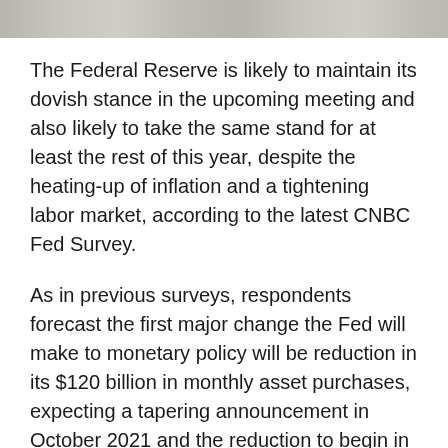[Figure (photo): Partial view of a photo strip at the top of the page, appears to show objects on a surface, cropped]
The Federal Reserve is likely to maintain its dovish stance in the upcoming meeting and also likely to take the same stand for at least the rest of this year, despite the heating-up of inflation and a tightening labor market, according to the latest CNBC Fed Survey.
As in previous surveys, respondents forecast the first major change the Fed will make to monetary policy will be reduction in its $120 billion in monthly asset purchases, expecting a tapering announcement in October 2021 and the reduction to begin in January 2022, as quoted on CNBC.
However, survey respondents forecasted that the first rate hike would take place in November 2022, one month earlier than the previous survey's forecast, and